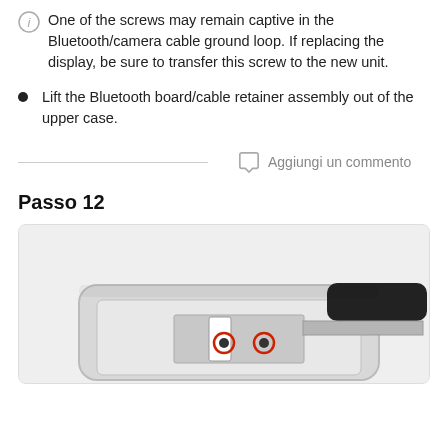One of the screws may remain captive in the Bluetooth/camera cable ground loop. If replacing the display, be sure to transfer this screw to the new unit.
Lift the Bluetooth board/cable retainer assembly out of the upper case.
Aggiungi un commento
Passo 12
[Figure (photo): Interior of a laptop case showing screws highlighted with red circles around them and a black component visible at the top right.]